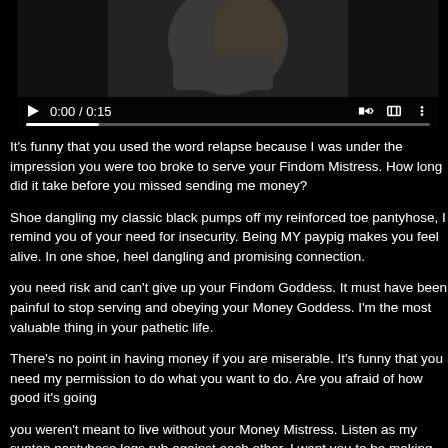[Figure (screenshot): Video player showing a person seated in a dark chair, with video controls showing 0:00 / 0:15 and a progress bar]
It's funny that you used the word relapse because I was under the impression you were too broke to serve your Findom Mistress. How long did it take before you missed sending me money?
Shoe dangling my classic black pumps off my reinforced toe pantyhose, I remind you of your need for insecurity. Being MY paypig makes you feel alive. In one shoe, heel dangling and promising connection.
you need risk and can't give up your Findom Goddess. It must have been painful to stop serving and obeying your Money Goddess. I'm the most valuable thing in your pathetic life.
There's no point in having money if you are miserable. It's funny that you need my permission to do what you want to do. Are you afraid of how good it's going
you weren't meant to live without your Money Mistress. Listen as my suntan pantyhose legs rub against each other. I want you to be making the same noise when wearing them.
I have a slave task to get you back in the pay pig habit. Don't fantasize or th